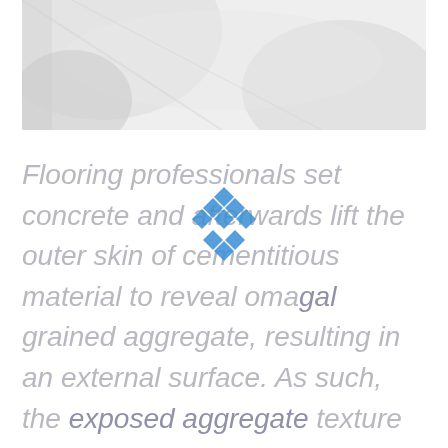[Figure (photo): Light gray textured background image showing a concrete or aggregate surface, faded/light tones]
[Figure (logo): Blue diamond/rhombus pattern logo watermark centered on the page]
Flooring professionals set concrete and afterwards lift the outer skin of cementitious material to reveal oma gal grained aggregate, resulting in an external surface. As such, the exposed aggregate texture is appropriate for most low-cost structures because of its longevity and friction coefficient. Meanwhile, it is used in: